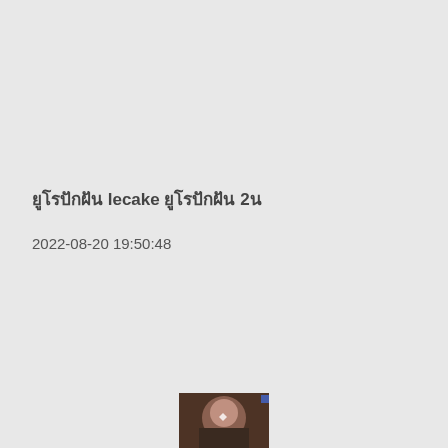ยูโรปักฝัน lecake ยูโรปักฝัน 2น
2022-08-20 19:50:48
[Figure (photo): A small thumbnail image of a person's face, partially visible at the bottom of the page]